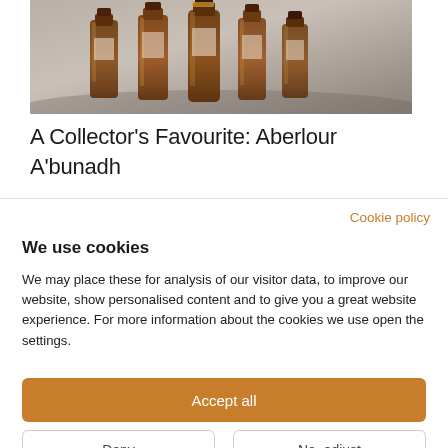[Figure (photo): Photograph of several amber/brown whisky bottles arranged on a neutral grey surface, shot from slightly above]
A Collector's Favourite: Aberlour A'bunadh
Cookie policy
We use cookies
We may place these for analysis of our visitor data, to improve our website, show personalised content and to give you a great website experience. For more information about the cookies we use open the settings.
Accept all
Deny
No, adjust